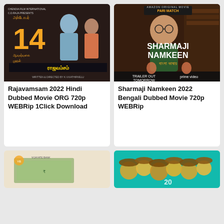[Figure (photo): Movie poster for Rajavamsam 2022 - Tamil movie with actors, text showing October 14 release date in Tamil script]
Rajavamsam 2022 Hindi Dubbed Movie ORG 720p WEBRip 1Click Download
[Figure (photo): Movie poster for Sharmaji Namkeen 2022 - Amazon Prime Video movie, Bengali dubbed, showing actor with glasses, Pari Match branding]
Sharmaji Namkeen 2022 Bengali Dubbed Movie 720p WEBRip
[Figure (photo): Partially visible movie poster at bottom left - appears to be a financial/bank related image]
[Figure (photo): Partially visible movie poster at bottom right - colorful with decorative elements]